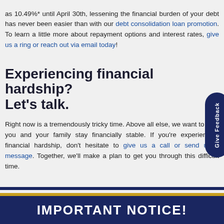as 10.49%* until April 30th, lessening the financial burden of your debt has never been easier than with our debt consolidation loan promotion. To learn a little more about repayment options and interest rates, give us a ring or reach out via email today!
Experiencing financial hardship? Let's talk.
Right now is a tremendously tricky time. Above all else, we want to help you and your family stay financially stable. If you're experiencing financial hardship, don't hesitate to give us a call or send us a message. Together, we'll make a plan to get you through this difficult time.
IMPORTANT NOTICE!